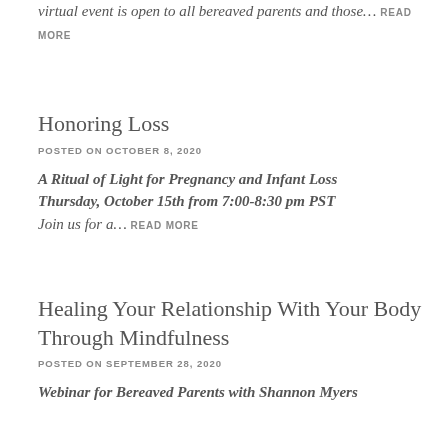virtual event is open to all bereaved parents and those… READ MORE
Honoring Loss
POSTED ON OCTOBER 8, 2020
A Ritual of Light for Pregnancy and Infant Loss Thursday, October 15th from 7:00-8:30 pm PST Join us for a… READ MORE
Healing Your Relationship With Your Body Through Mindfulness
POSTED ON SEPTEMBER 28, 2020
Webinar for Bereaved Parents with Shannon Myers